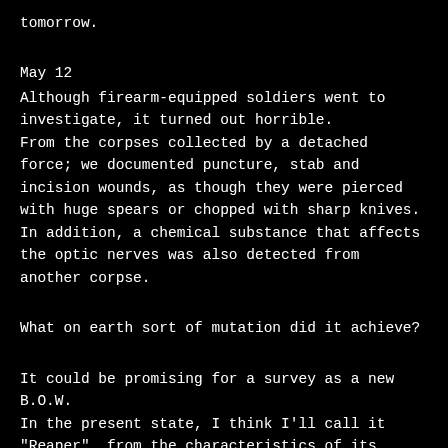tomorrow.
May 12
Although firearm-equipped soldiers went to investigate, it turned out horrible.
From the corpses collected by a detached force; we documented puncture, stab and incision wounds, as though they were pierced with huge spears or chopped with sharp knives.
In addition, a chemical substance that affects the optic nerves was also detected from another corpse.
What on earth sort of mutation did it achieve?
It could be promising for a survey as a new B.O.W.
In the present state, I think I'll call it "Reaper", from the characteristics of its attacks.